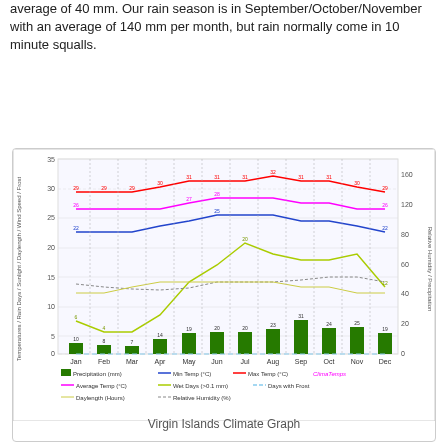average of 40 mm. Our rain season is in September/October/November with an average of 140 mm per month, but rain normally come in 10 minute squalls.
[Figure (bar-chart): Virgin Islands Climate Graph]
Virgin Islands Climate Graph